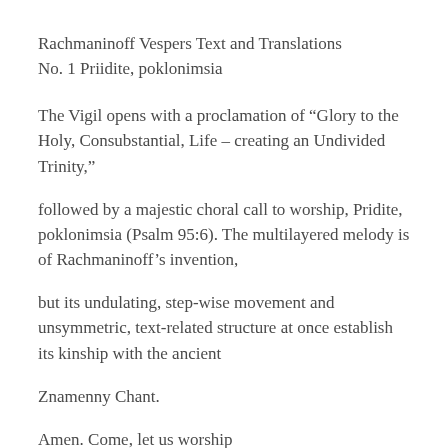Rachmaninoff Vespers Text and Translations
No. 1 Priidite, poklonimsia
The Vigil opens with a proclamation of “Glory to the Holy, Consubstantial, Life – creating an Undivided Trinity,”
followed by a majestic choral call to worship, Pridite, poklonimsia (Psalm 95:6). The multilayered melody is of Rachmaninoff’s invention,
but its undulating, step-wise movement and unsymmetric, text-related structure at once establish its kinship with the ancient
Znamenny Chant.
Amen. Come, let us worship